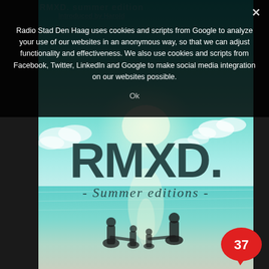RMXD. summer edition
Introduced by Harold
Radio Stad Den Haag uses cookies and scripts from Google to analyze your use of our websites in an anonymous way, so that we can adjust functionality and effectiveness. We also use cookies and scripts from Facebook, Twitter, LinkedIn and Google to make social media integration on our websites possible.
Ok
[Figure (photo): Beach scene with RMXD. Summer editions branding overlay. Large bold text 'RMXD.' with cursive subtitle '- Summer editions -' over a turquoise ocean/sky background. Silhouettes of people standing in water at the bottom.]